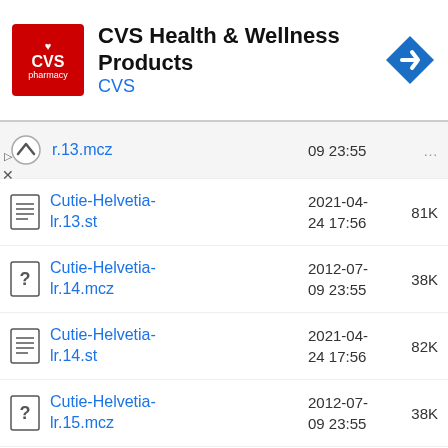[Figure (logo): CVS Health & Wellness Products advertisement banner with CVS pharmacy logo (red square with white heart and CVS text), title 'CVS Health & Wellness Products', link 'CVS', and a blue navigation arrow icon on the right]
| Icon | Filename | Date | Size |
| --- | --- | --- | --- |
| [up] | r.13.mcz | 09 23:55 | ... |
| [doc] | Cutie-Helvetia-lr.13.st | 2021-04-24 17:56 | 81K |
| [?] | Cutie-Helvetia-lr.14.mcz | 2012-07-09 23:55 | 38K |
| [doc] | Cutie-Helvetia-lr.14.st | 2021-04-24 17:56 | 82K |
| [?] | Cutie-Helvetia-lr.15.mcz | 2012-07-09 23:55 | 38K |
| [doc] | Cutie-Helvetia-lr.15.st | 2021-04-24 17:56 | 81K |
| [?] | Cutie-Helvetia-lr.16.mcz | 2012-07-09 23:55 | 38K |
| [doc] | Cutie-Helvetia-lr.16.st | 2021-04-24 17:56 | 81K |
| [?] | Cutie-Helvetia-lr.17.mcz | 2012-07-09 23:55 | 38K |
| [doc] | Cutie-Helvetia-lr.17.st | 2021-04-24 17:56 | 81K |